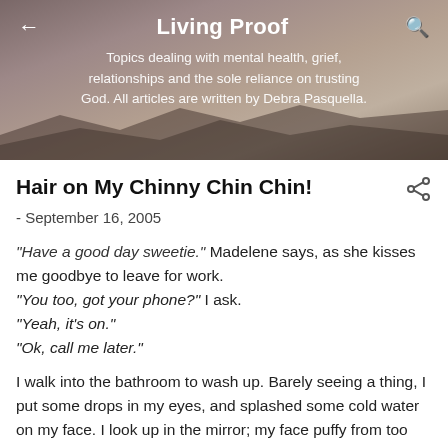Living Proof
Topics dealing with mental health, grief, relationships and the sole reliance on trusting God. All articles are written by Debra Pasquella.
Hair on My Chinny Chin Chin!
- September 16, 2005
“Have a good day sweetie.” Madelene says, as she kisses me goodbye to leave for work.
“You too, got your phone?” I ask.
“Yeah, it’s on.”
“Ok, call me later.”
I walk into the bathroom to wash up. Barely seeing a thing, I put some drops in my eyes, and splashed some cold water on my face. I look up in the mirror; my face puffy from too much